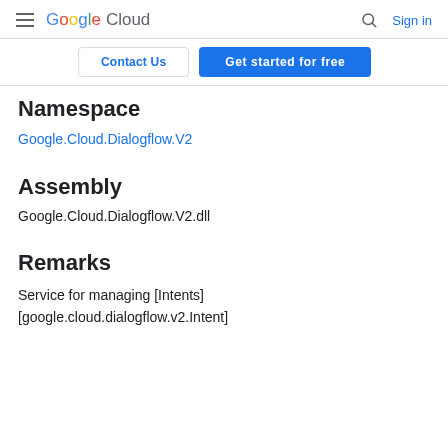Google Cloud  Sign in
Contact Us   Get started for free
Namespace
Google.Cloud.Dialogflow.V2
Assembly
Google.Cloud.Dialogflow.V2.dll
Remarks
Service for managing [Intents]
[google.cloud.dialogflow.v2.Intent]